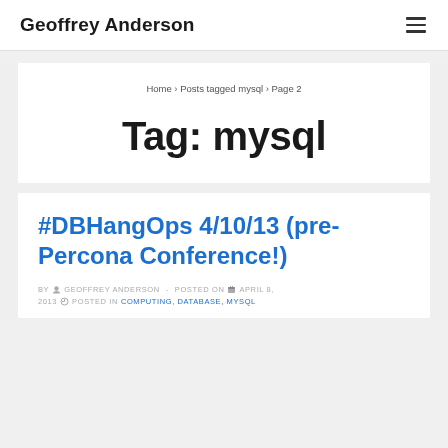Geoffrey Anderson
Home › Posts tagged mysql › Page 2
Tag: mysql
#DBHangOps 4/10/13 (pre-Percona Conference!)
BY  GEOFFREY ANDERSON  -  POSTED ON  APRIL 8, 2013  POSTED IN COMPUTING, DATABASE, MYSQL